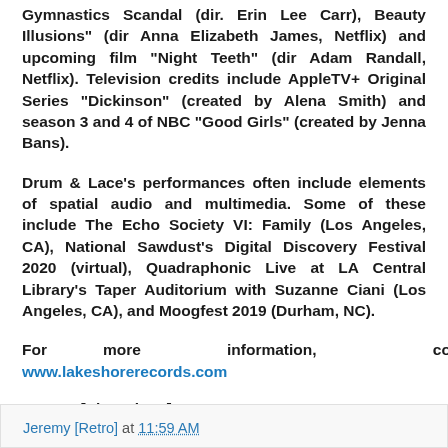Gymnastics Scandal (dir. Erin Lee Carr), Beauty Illusions" (dir Anna Elizabeth James, Netflix) and upcoming film "Night Teeth" (dir Adam Randall, Netflix). Television credits include AppleTV+ Original Series "Dickinson" (created by Alena Smith) and season 3 and 4 of NBC "Good Girls" (created by Jenna Bans).
Drum & Lace's performances often include elements of spatial audio and multimedia. Some of these include The Echo Society VI: Family (Los Angeles, CA), National Sawdust's Digital Discovery Festival 2020 (virtual), Quadraphonic Live at LA Central Library's Taper Auditorium with Suzanne Ciani (Los Angeles, CA), and Moogfest 2019 (Durham, NC).
For more information, contact: www.lakeshorerecords.com
Jeremy [Six Strings]
Jeremy [Retro] at 11:59 AM